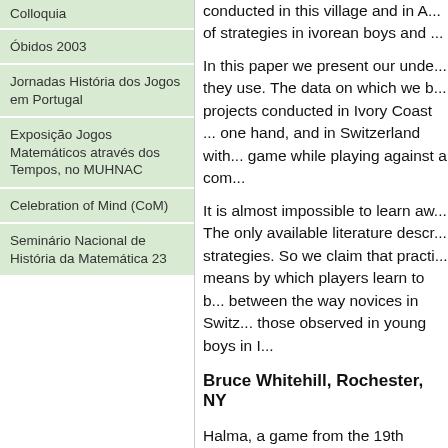Colloquia
Óbidos 2003
Jornadas História dos Jogos em Portugal
Exposição Jogos Matemáticos através dos Tempos, no MUHNAC
Celebration of Mind (CoM)
Seminário Nacional de História da Matemática 23
conducted in this village and in A... of strategies in ivorean boys and ...
In this paper we present our unde... they use. The data on which we b... projects conducted in Ivory Coast ... one hand, and in Switzerland with... game while playing against a com...
It is almost impossible to learn aw... The only available literature descr... strategies. So we claim that practi... means by which players learn to b... between the way novices in Switz... those observed in young boys in I...
Bruce Whitehill, Rochester, NY
Halma, a game from the 19th cent... written material on Halma suggest... Halma was invented by an Americ... inspired by the British game of Ho...